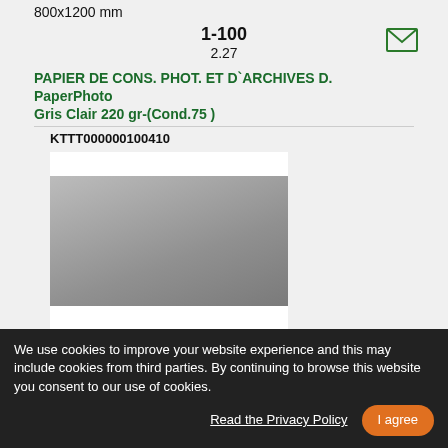800x1200 mm
1-100
2.27
PAPIER DE CONS. PHOT. ET D`ARCHIVES D. PaperPhoto Gris Clair 220 gr-(Cond.75 )
KTTT000000100410
[Figure (photo): Gray paper swatch with white bars above and below]
800x1200 mm
1-100
1.57
PAPIER DE CONS. PHOT. ET D`ARCHIVES D. PaperPhoto Gris Clair 170 gr-(Cond.100)
We use cookies to improve your website experience and this may include cookies from third parties. By continuing to browse this website you consent to our use of cookies.
Read the Privacy Policy
I agree